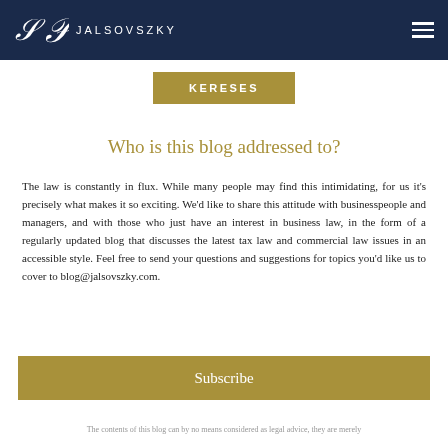JALSOVSZKY
KERESES
Who is this blog addressed to?
The law is constantly in flux. While many people may find this intimidating, for us it's precisely what makes it so exciting. We'd like to share this attitude with businesspeople and managers, and with those who just have an interest in business law, in the form of a regularly updated blog that discusses the latest tax law and commercial law issues in an accessible style. Feel free to send your questions and suggestions for topics you'd like us to cover to blog@jalsovszky.com.
Subscribe
The contents of this blog can by no means considered as legal advice, they are merely